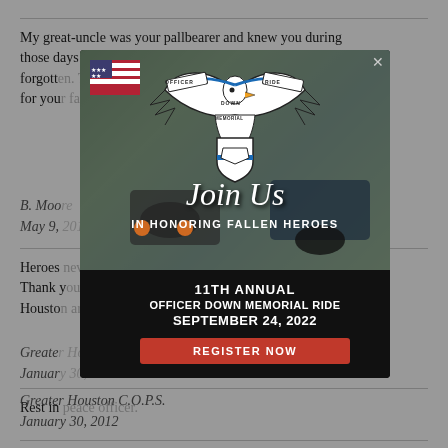My great-uncle was your pallbearer and knew you during those days and I remember the story and have never forgotten. Thank you for your service and our prayers for you…
B. Moo…
May 9,…
Heroes… forget. Thank y… s of Housto…
Greate…
Januar…
Rest in…
[Figure (infographic): Officer Down Memorial Ride popup modal with eagle logo, motorcycles photo background, 'Join Us IN HONORING FALLEN HEROES' text, '11TH ANNUAL OFFICER DOWN MEMORIAL RIDE SEPTEMBER 24, 2022' details, and REGISTER NOW red button]
Greater Houston C.O.P.S.
January 30, 2012